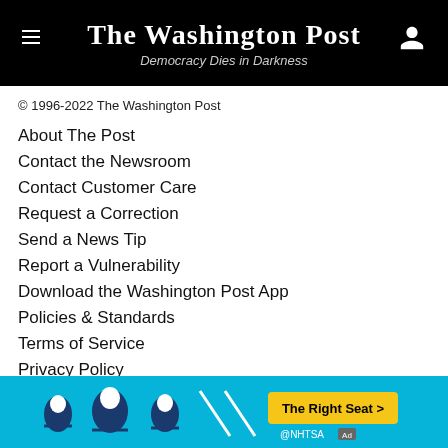The Washington Post — Democracy Dies in Darkness
© 1996-2022 The Washington Post
About The Post
Contact the Newsroom
Contact Customer Care
Request a Correction
Send a News Tip
Report a Vulnerability
Download the Washington Post App
Policies & Standards
Terms of Service
Privacy Policy
Cookie Settings
Print Products Terms of Sale
Digital Products Terms of Sale
Submissions & Discussion Policy
RSS Terms of Service
[Figure (photo): Advertisement banner for NHTSA 'The Right Seat' car seat safety campaign with cyan background, child car seat icons, and a yellow CTA button]